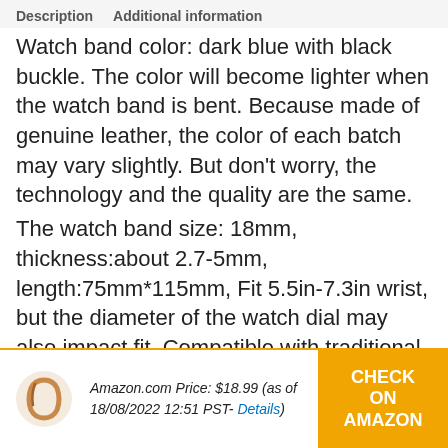Description   Additional information
Watch band color: dark blue with black buckle. The color will become lighter when the watch band is bent. Because made of genuine leather, the color of each batch may vary slightly. But don't worry, the technology and the quality are the same.
The watch band size: 18mm, thickness:about 2.7-5mm, length:75mm*115mm, Fit 5.5in-7.3in wrist, but the diameter of the watch dial may also impact fit. Compatible with traditional or smart watch with 18mm watch lug size.
The watch strap comes with 2 quick release spring bar and 1 spring bar remover. The new band may be
Amazon.com Price: $18.99 (as of 18/08/2022 12:51 PST- Details)